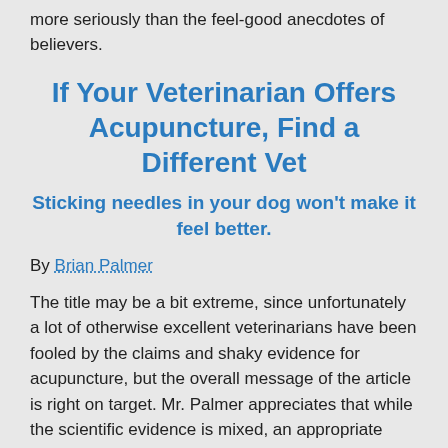more seriously than the feel-good anecdotes of believers.
If Your Veterinarian Offers Acupuncture, Find a Different Vet
Sticking needles in your dog won't make it feel better.
By Brian Palmer
The title may be a bit extreme, since unfortunately a lot of otherwise excellent veterinarians have been fooled by the claims and shaky evidence for acupuncture, but the overall message of the article is right on target. Mr. Palmer appreciates that while the scientific evidence is mixed, an appropriate evaluation